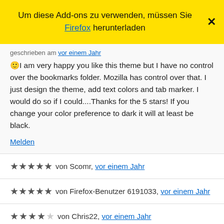Um diese Add-ons zu verwenden, müssen Sie Firefox herunterladen
geschrieben am vor einem Jahr
🙂I am very happy you like this theme but I have no control over the bookmarks folder. Mozilla has control over that. I just design the theme, add text colors and tab marker. I would do so if I could....Thanks for the 5 stars! If you change your color preference to dark it will at least be black.
Melden
★★★★★ von Scomr, vor einem Jahr
★★★★★ von Firefox-Benutzer 6191033, vor einem Jahr
★★★★☆ von Chris22, vor einem Jahr